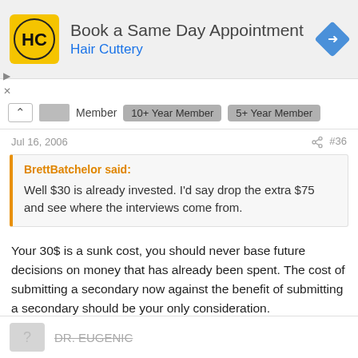[Figure (illustration): Hair Cuttery advertisement banner with yellow HC logo, title 'Book a Same Day Appointment', subtitle 'Hair Cuttery', and a blue diamond navigation arrow icon. Play and close controls on left.]
Member  10+ Year Member  5+ Year Member
Jul 16, 2006  #36
BrettBatchelor said:
Well $30 is already invested. I'd say drop the extra $75 and see where the interviews come from.
Your 30$ is a sunk cost, you should never base future decisions on money that has already been spent. The cost of submitting a secondary now against the benefit of submitting a secondary should be your only consideration.
DR. EUGENIC